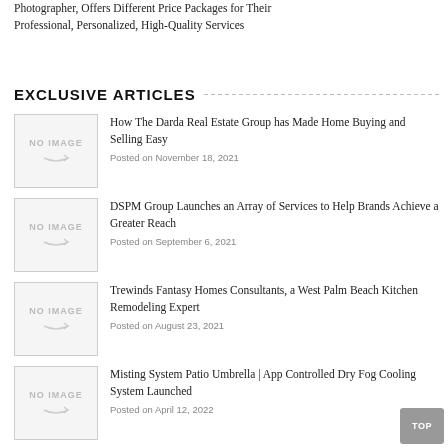Photographer, Offers Different Price Packages for Their Professional, Personalized, High-Quality Services
EXCLUSIVE ARTICLES
How The Darda Real Estate Group has Made Home Buying and Selling Easy
Posted on November 18, 2021
DSPM Group Launches an Array of Services to Help Brands Achieve a Greater Reach
Posted on September 6, 2021
Trewinds Fantasy Homes Consultants, a West Palm Beach Kitchen Remodeling Expert
Posted on August 23, 2021
Misting System Patio Umbrella | App Controlled Dry Fog Cooling System Launched
Posted on April 12, 2022